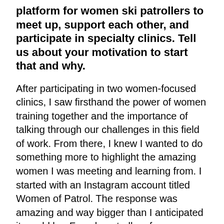platform for women ski patrollers to meet up, support each other, and participate in specialty clinics. Tell us about your motivation to start that and why.
After participating in two women-focused clinics, I saw firsthand the power of women training together and the importance of talking through our challenges in this field of work. From there, I knew I wanted to do something more to highlight the amazing women I was meeting and learning from. I started with an Instagram account titled Women of Patrol. The response was amazing and way bigger than I anticipated it would be. Female patrollers from across the world share